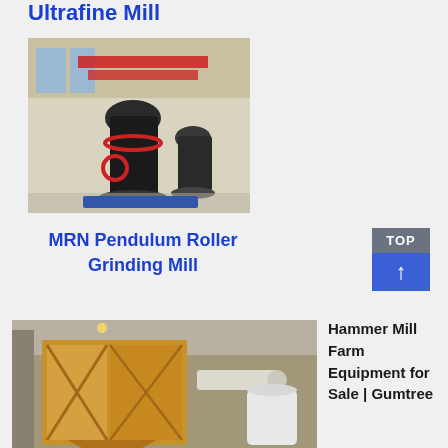Ultrafine Mill
[Figure (photo): Industrial grinding mill machines in a large factory hall with red banners]
MRN Pendulum Roller Grinding Mill
[Figure (photo): Hammer mill farm equipment - large yellow wooden frame dust collector with pipes in an industrial building]
Hammer Mill Farm Equipment for Sale | Gumtree